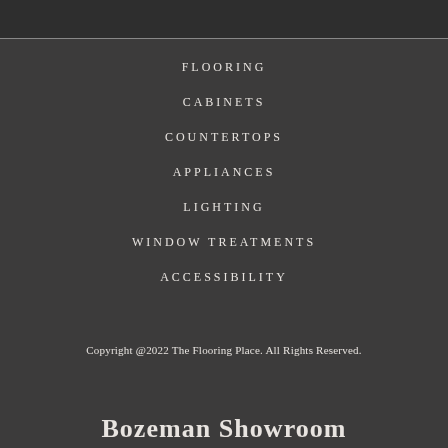FLOORING
CABINETS
COUNTERTOPS
APPLIANCES
LIGHTING
WINDOW TREATMENTS
ACCESSIBILITY
Copyright @2022 The Flooring Place. All Rights Reserved.
Bozeman Showroom